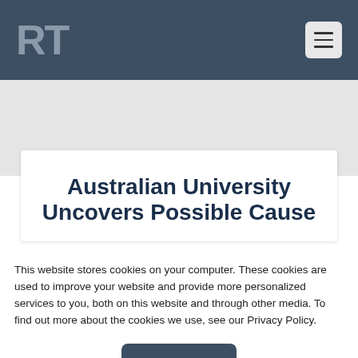RT
Australian University Uncovers Possible Cause
This website stores cookies on your computer. These cookies are used to improve your website and provide more personalized services to you, both on this website and through other media. To find out more about the cookies we use, see our Privacy Policy.